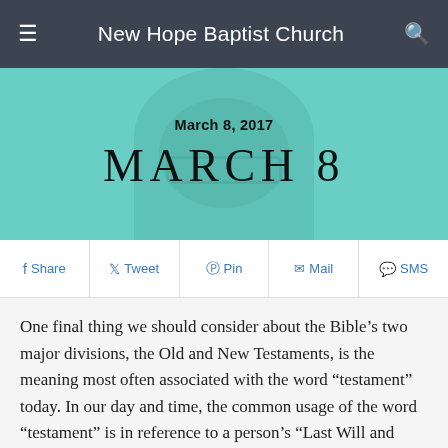New Hope Baptist Church
[Figure (photo): Hero banner with teal/green overlay showing a person's face in the background. Displays the date 'March 8, 2017' and large heading 'MARCH 8'.]
March 8, 2017
MARCH 8
Share  Tweet  Pin  Mail  SMS
One final thing we should consider about the Bible’s two major divisions, the Old and New Testaments, is the meaning most often associated with the word “testament” today. In our day and time, the common usage of the word “testament” is in reference to a person’s “Last Will and Testament.” A “Last Will and